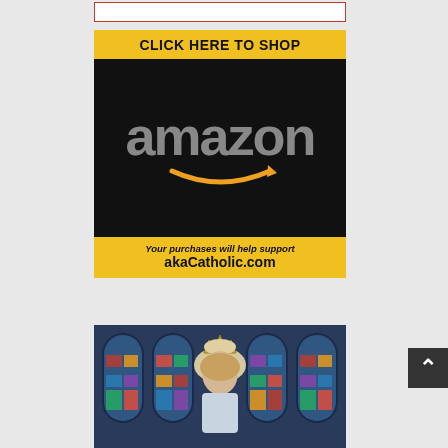[Figure (other): White input/search box with red border at top of page]
[Figure (infographic): Amazon shopping advertisement banner. Yellow top bar with bold text 'CLICK HERE TO SHOP', black section with gray Amazon logo and orange smile/arrow, yellow bottom bar with italic text 'Your purchases will help support' and bold text 'akaCatholic.com']
[Figure (photo): Photo of a religious statue (Our Lady/Virgin Mary figure) wearing a crown, set against colorful stained glass windows in a church]
[Figure (other): Dark scroll-to-top button with upward arrow chevron in bottom right corner]